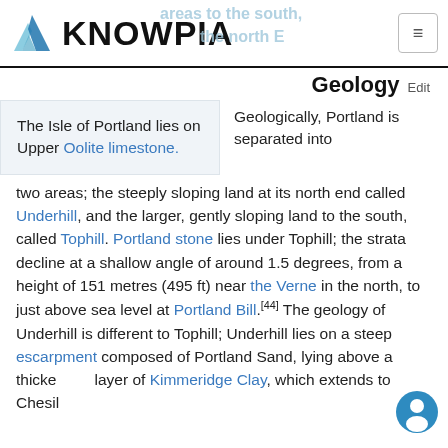KNOWPIA
Geology Edit
The Isle of Portland lies on Upper Oolite limestone.
Geologically, Portland is separated into two areas; the steeply sloping land at its north end called Underhill, and the larger, gently sloping land to the south, called Tophill. Portland stone lies under Tophill; the strata decline at a shallow angle of around 1.5 degrees, from a height of 151 metres (495 ft) near the Verne in the north, to just above sea level at Portland Bill.[44] The geology of Underhill is different to Tophill; Underhill lies on a steep escarpment composed of Portland Sand, lying above a thicker layer of Kimmeridge Clay, which extends to Chesil